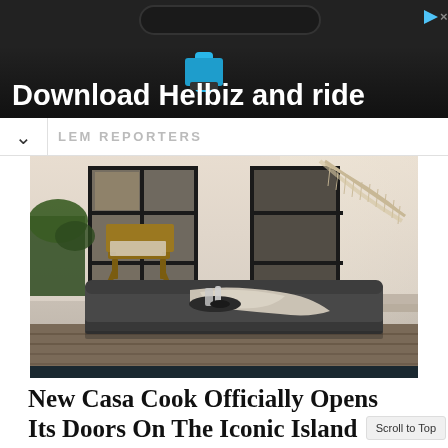[Figure (photo): Advertisement banner with dark background showing a scooter handlebar with blue accent, text reads 'Download Helbiz and ride']
LEM REPORTERS
[Figure (photo): Outdoor resort/hotel scene showing a dark cushioned daybed/lounger with a blanket and tray on top, wooden deck, modern white building with black-framed doors, a hammock with fringe visible on the right, and a teak lounge chair in the background]
New Casa Cook Officially Opens Its Doors On The Iconic Island